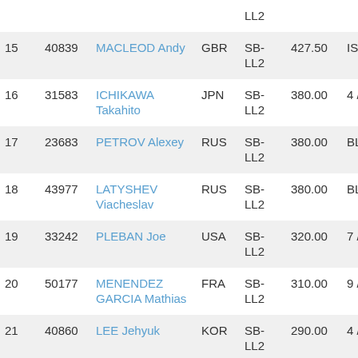| Rank | ID | Name | Nat | Cat | Pts | Pos | Extra |
| --- | --- | --- | --- | --- | --- | --- | --- |
|  |  | LL2 |  |  |  |  |  |
| 15 | 40839 | MACLEOD Andy | GBR | SB-LL2 | 427.50 | IS |  |
| 16 | 31583 | ICHIKAWA Takahito | JPN | SB-LL2 | 380.00 | 4 / 7 | 400.0 (§141 |
| 17 | 23683 | PETROV Alexey | RUS | SB-LL2 | 380.00 | BL | 260.0 (§141 |
| 18 | 43977 | LATYSHEV Viacheslav | RUS | SB-LL2 | 380.00 | BL | 240.0 (§141 |
| 19 | 33242 | PLEBAN Joe | USA | SB-LL2 | 320.00 | 7 / 11 |  |
| 20 | 50177 | MENENDEZ GARCIA Mathias | FRA | SB-LL2 | 310.00 | 9 / 11 |  |
| 21 | 40860 | LEE Jehyuk | KOR | SB-LL2 | 290.00 | 4 / 7 |  |
| 22 | 32163 | YAN Wendi | CHN | SB-LL2 | 260.00 | BL |  |